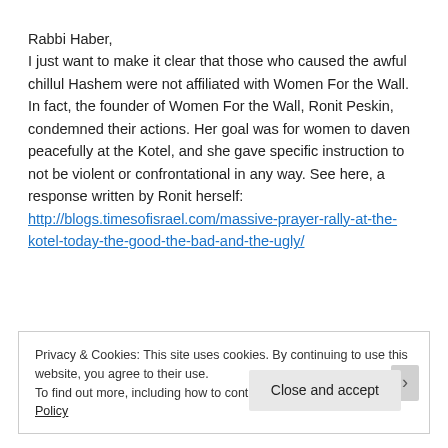Rabbi Haber,
I just want to make it clear that those who caused the awful chillul Hashem were not affiliated with Women For the Wall. In fact, the founder of Women For the Wall, Ronit Peskin, condemned their actions. Her goal was for women to daven peacefully at the Kotel, and she gave specific instruction to not be violent or confrontational in any way. See here, a response written by Ronit herself:
http://blogs.timesofisrael.com/massive-prayer-rally-at-the-kotel-today-the-good-the-bad-and-the-ugly/
Privacy & Cookies: This site uses cookies. By continuing to use this website, you agree to their use.
To find out more, including how to control cookies, see here: Cookie Policy